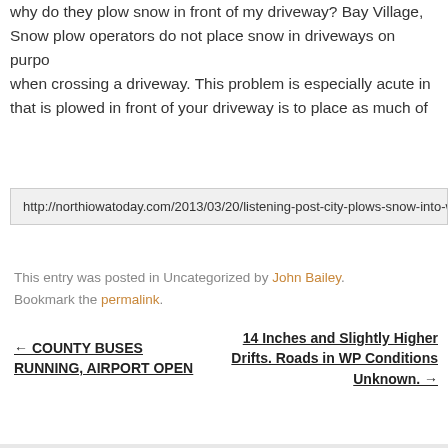why do they plow snow in front of my driveway? Bay Village, Snow plow operators do not place snow in driveways on purpose when crossing a driveway. This problem is especially acute in that is plowed in front of your driveway is to place as much of
http://northiowatoday.com/2013/03/20/listening-post-city-plows-snow-into-wom
This entry was posted in Uncategorized by John Bailey. Bookmark the permalink.
← COUNTY BUSES RUNNING, AIRPORT OPEN
14 Inches and Slightly Higher Drifts. Roads in WP Conditions Unknown. →
Search Site
Recent Posts
WESTCHESTER LOWERS NEW COVID INFECTIONS FOR 6TH WEEK IN ROW– 1,299 –DOWN 22% FROM LAST WEEK 49% IN AUGUST.
BOONE MUST GO
WESTCHESTER ENDING 6TH STRAIGHT WEEK OF REDUCED NEW